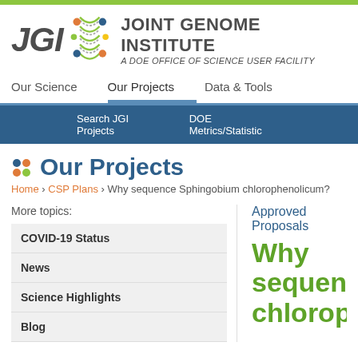[Figure (logo): JGI Joint Genome Institute logo with DNA helix icon and tagline 'A DOE OFFICE OF SCIENCE USER FACILITY']
Our Science   Our Projects   Data & Tools
Search JGI Projects   DOE Metrics/Statistics
Our Projects
Home > CSP Plans > Why sequence Sphingobium chlorophenolicum?
More topics:
COVID-19 Status
News
Science Highlights
Blog
Approved Proposals
Why sequence Sphingobium chlorophenolicum?